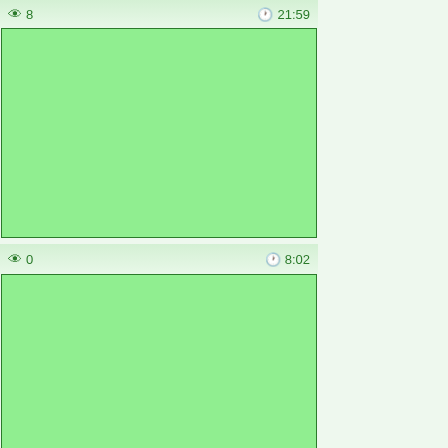👁 8   🕐 21:59
[Figure (photo): Green filled rectangle image placeholder]
👁 0   🕐 8:02
[Figure (photo): Green filled rectangle image placeholder]